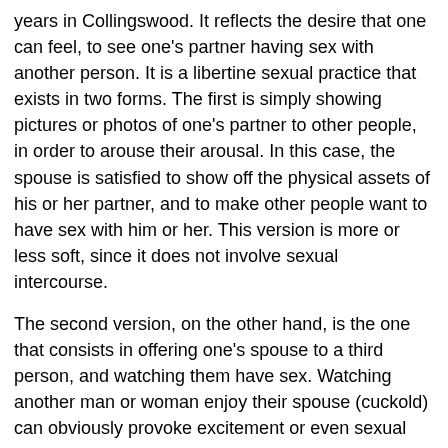years in Collingswood. It reflects the desire that one can feel, to see one's partner having sex with another person. It is a libertine sexual practice that exists in two forms. The first is simply showing pictures or photos of one's partner to other people, in order to arouse their arousal. In this case, the spouse is satisfied to show off the physical assets of his or her partner, and to make other people want to have sex with him or her. This version is more or less soft, since it does not involve sexual intercourse.
The second version, on the other hand, is the one that consists in offering one's spouse to a third person, and watching them have sex. Watching another man or woman enjoy their spouse (cuckold) can obviously provoke excitement or even sexual pleasure in some followers of swinging in Collingswood.
This practice can seem quite disturbing for some people, and this is easily understandable. For this reason, before acting, each spouse should ask himself or herself about his or her personal desires and feelings about the situation. Do not allow yourself to be taken advantage of simply because the other has suggested it, because after all, your well-being is at stake.